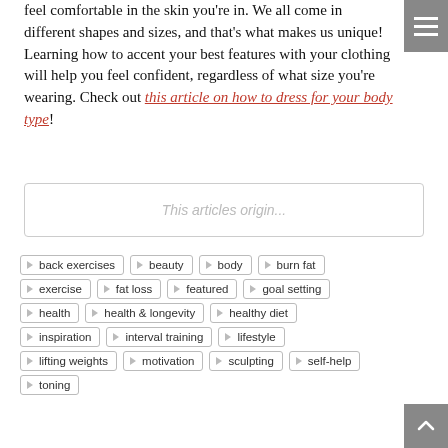feel comfortable in the skin you're in. We all come in different shapes and sizes, and that's what makes us unique! Learning how to accent your best features with your clothing will help you feel confident, regardless of what size you're wearing. Check out this article on how to dress for your body type!
This articles origin...
back exercises
beauty
body
burn fat
exercise
fat loss
featured
goal setting
health
health & longevity
healthy diet
inspiration
interval training
lifestyle
lifting weights
motivation
sculpting
self-help
toning